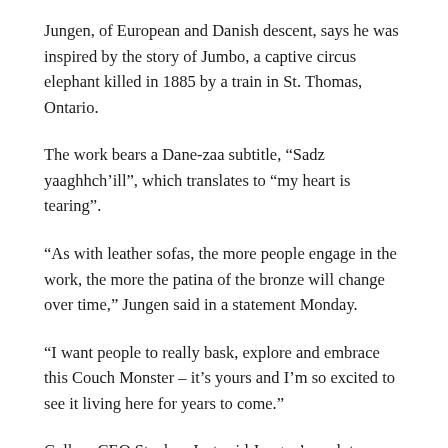Jungen, of European and Danish descent, says he was inspired by the story of Jumbo, a captive circus elephant killed in 1885 by a train in St. Thomas, Ontario.
The work bears a Dane-zaa subtitle, “Sadz yaaghhch’ill”, which translates to “my heart is tearing”.
“As with leather sofas, the more people engage in the work, the more the patina of the bronze will change over time,” Jungen said in a statement Monday.
“I want people to really bask, explore and embrace this Couch Monster – it’s yours and I’m so excited to see it living here for years to come.”
Gallery CEO Stephan Jost said Jungen’s sculpture “will continue to shape this environment for years to come”.
“Monumental public art has made Dundas and McCaul a Canadian landmark, and Brian Jungen’s ambitious new work reaffirms that intersection in the global art world,” Jost said in a statement Monday.